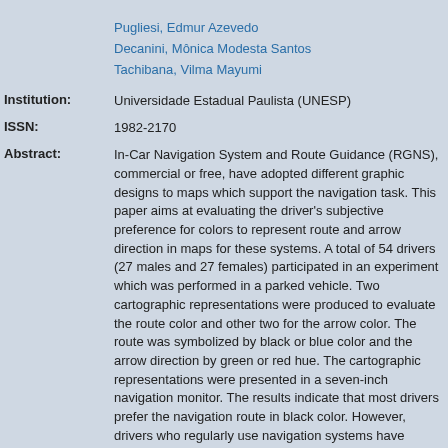Pugliesi, Edmur Azevedo
Decanini, Mônica Modesta Santos
Tachibana, Vilma Mayumi
Institution: Universidade Estadual Paulista (UNESP)
ISSN: 1982-2170
Abstract: In-Car Navigation System and Route Guidance (RGNS), commercial or free, have adopted different graphic designs to maps which support the navigation task. This paper aims at evaluating the driver's subjective preference for colors to represent route and arrow direction in maps for these systems. A total of 54 drivers (27 males and 27 females) participated in an experiment which was performed in a parked vehicle. Two cartographic representations were produced to evaluate the route color and other two for the arrow color. The route was symbolized by black or blue color and the arrow direction by green or red hue. The cartographic representations were presented in a seven-inch navigation monitor. The results indicate that most drivers prefer the navigation route in black color. However, drivers who regularly use navigation systems have presented the tendency to prefer the route in blue hue. The direction arrow in green hue was the mostly preferred by the drivers and there was no significant correlation between different lighting between categories. This study was part of